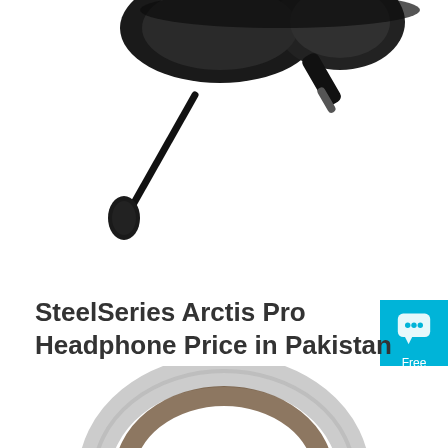[Figure (photo): Close-up photo of a black gaming headset/headphone with detachable microphone boom, cropped at top of page]
SteelSeries Arctis Pro Headphone Price in Pakistan - SHOPHIVE
Rs 11,989. Add to Cart. Add to Wish List Add to Compare. SteelSeries Arctis 9 Wireless Gaming Headphone. Rs 31,499. Add to Cart. Add to Wish List Add to Compare.
[Figure (other): Orange rounded rectangle button labeled 'Get Price']
[Figure (other): Cyan/blue chat widget on right side with speech bubble icon and text 'Free Chat']
[Figure (photo): Partial view of a white/silver headphone visible at bottom of page]